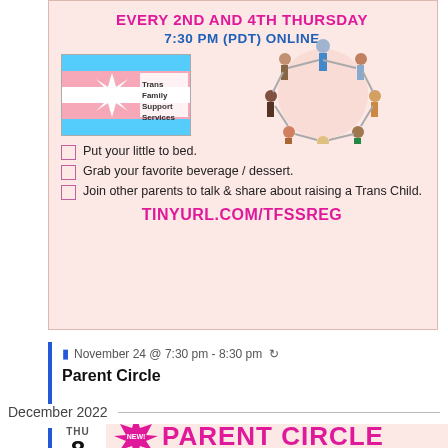[Figure (infographic): Trans Family Support Services flyer with pink background, trans flag logo, people holding hands in circle illustration. Text: EVERY 2ND AND 4TH THURSDAY, 7:30 PM (PDT) ONLINE. Checklist items and TINYURL.COM/TFSSREG]
November 24 @ 7:30 pm - 8:30 pm 🔄
Parent Circle
December 2022
[Figure (infographic): NEW! PARENT CIRCLE in large pink bold text on pink background, date THU 8]